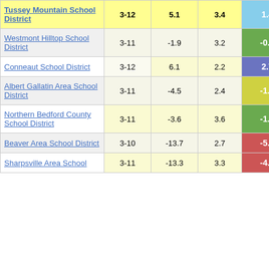| District | Grades | Col3 | Col4 | Col5 |  |
| --- | --- | --- | --- | --- | --- |
| Tussey Mountain School District | 3-12 | 5.1 | 3.4 | 1.48 |  |
| Westmont Hilltop School District | 3-11 | -1.9 | 3.2 | -0.58 |  |
| Conneaut School District | 3-12 | 6.1 | 2.2 | 2.74 |  |
| Albert Gallatin Area School District | 3-11 | -4.5 | 2.4 | -1.88 |  |
| Northern Bedford County School District | 3-11 | -3.6 | 3.6 | -1.00 |  |
| Beaver Area School District | 3-10 | -13.7 | 2.7 | -5.11 |  |
| Sharpsville Area School | 3-11 | -13.3 | 3.3 | -4.02 |  |